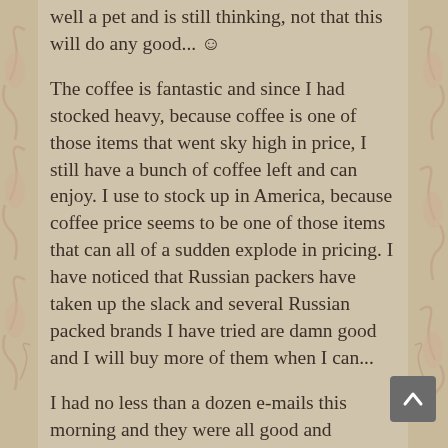well a pet and is still thinking, not that this will do any good... ☺
The coffee is fantastic and since I had stocked heavy, because coffee is one of those items that went sky high in price, I still have a bunch of coffee left and can enjoy. I use to stock up in America, because coffee price seems to be one of those items that can all of a sudden explode in pricing. I have noticed that Russian packers have taken up the slack and several Russian packed brands I have tried are damn good and I will buy more of them when I can...
I had no less than a dozen e-mails this morning and they were all good and helpful. I am amazed at how it took me so long to get a system that worked with communication to my readers. it